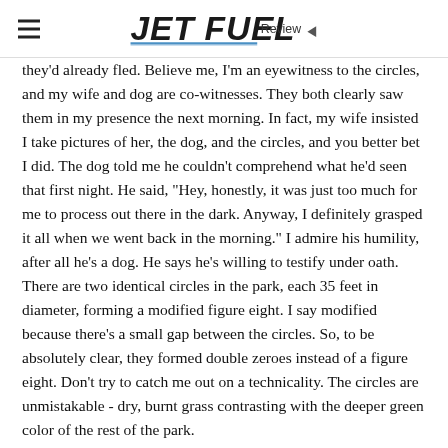Jet Fuel Review
they'd already fled. Believe me, I'm an eyewitness to the circles, and my wife and dog are co-witnesses. They both clearly saw them in my presence the next morning. In fact, my wife insisted I take pictures of her, the dog, and the circles, and you better bet I did. The dog told me he couldn't comprehend what he'd seen that first night. He said, "Hey, honestly, it was just too much for me to process out there in the dark. Anyway, I definitely grasped it all when we went back in the morning." I admire his humility, after all he's a dog. He says he's willing to testify under oath. There are two identical circles in the park, each 35 feet in diameter, forming a modified figure eight. I say modified because there's a small gap between the circles. So, to be absolutely clear, they formed double zeroes instead of a figure eight. Don't try to catch me out on a technicality. The circles are unmistakable - dry, burnt grass contrasting with the deeper green color of the rest of the park.